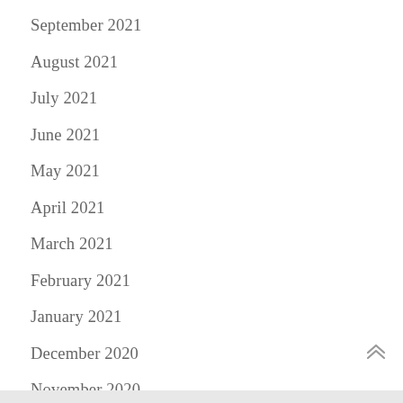September 2021
August 2021
July 2021
June 2021
May 2021
April 2021
March 2021
February 2021
January 2021
December 2020
November 2020
October 2020
September 2020